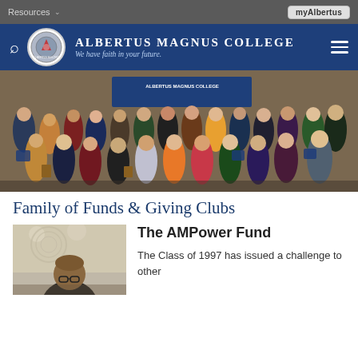Resources   myAlbertus
[Figure (logo): Albertus Magnus College header with seal, search icon, college name and tagline 'We have faith in your future.' on dark blue background with hamburger menu]
[Figure (photo): Group photo of students and faculty standing together in front of an Albertus Magnus College banner, holding awards and portfolios]
Family of Funds & Giving Clubs
[Figure (photo): Portrait photo of a person, partially visible, head and shoulders]
The AMPower Fund
The Class of 1997 has issued a challenge to other